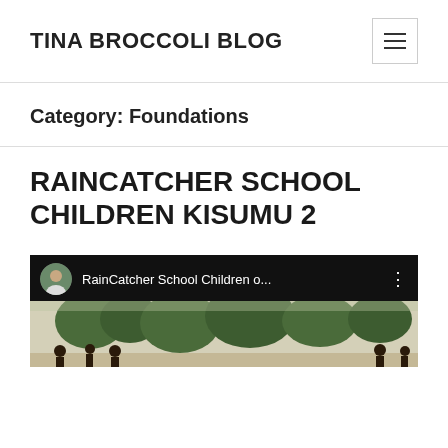TINA BROCCOLI BLOG
Category: Foundations
RAINCATCHER SCHOOL CHILDREN KISUMU 2
[Figure (screenshot): YouTube video thumbnail showing RainCatcher School Children o... with a person avatar and three-dot menu, outdoor scene with children and trees below]